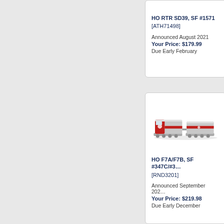HO RTR SD39, SF #1571 [ATH71498] Announced August 2021 Your Price: $179.99 Due Early February
[Figure (photo): Product listing card for HO F7A/F7B locomotive set showing a red and silver Santa Fe train model]
HO F7A/F7B, SF #347C/#3... [RND3201] Announced September 202... Your Price: $219.98 Due Early December